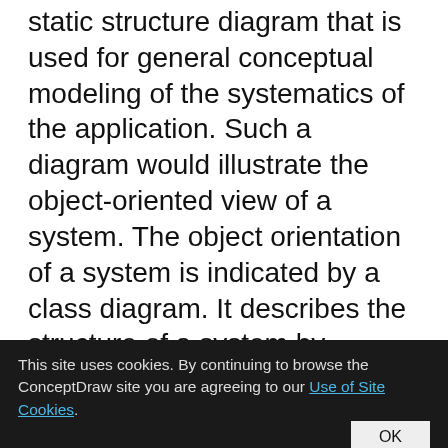static structure diagram that is used for general conceptual modeling of the systematics of the application. Such a diagram would illustrate the object-oriented view of a system. The object orientation of a system is indicated by a class diagram. It describes the structure of a system by showing the general issues,classes of a system, attributes, operations, interfaces, inheritance, and the relationships between them.
This site uses cookies. By continuing to browse the ConceptDraw site you are agreeing to our Use of Site Cookies.